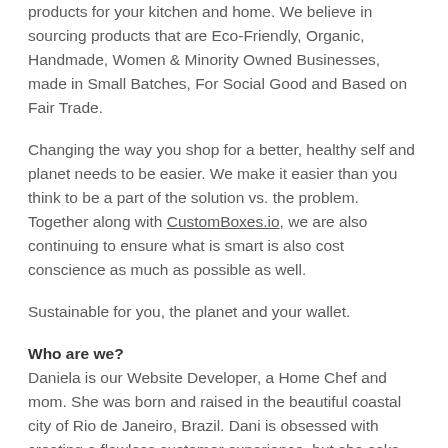products for your kitchen and home. We believe in sourcing products that are Eco-Friendly, Organic, Handmade, Women & Minority Owned Businesses, made in Small Batches, For Social Good and Based on Fair Trade.
Changing the way you shop for a better, healthy self and planet needs to be easier. We make it easier than you think to be a part of the solution vs. the problem. Together along with CustomBoxes.io, we are also continuing to ensure what is smart is also cost conscience as much as possible as well.
Sustainable for you, the planet and your wallet.
Who are we?
Daniela is our Website Developer, a Home Chef and mom. She was born and raised in the beautiful coastal city of Rio de Janeiro, Brazil. Dani is obsessed with creating a flawless customer experience, but she asks you to bear with her while she juggles all of her responsibilities. She earned a bachelors degree in Marketing from Georgia State University